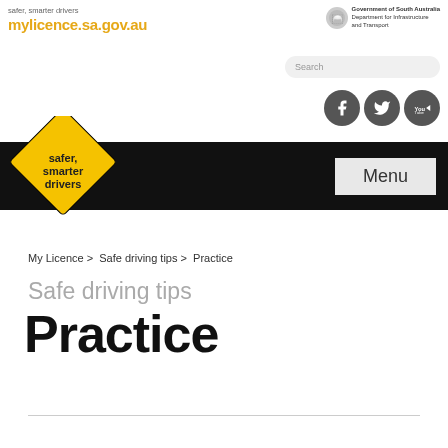safer, smarter drivers
mylicence.sa.gov.au
[Figure (logo): Government of South Australia - Department for Infrastructure and Transport logo]
[Figure (screenshot): Search bar]
[Figure (infographic): Social media icons: Facebook, Twitter, YouTube]
[Figure (logo): Safer, smarter drivers diamond logo on black navigation bar with Menu button]
My Licence > Safe driving tips > Practice
Safe driving tips
Practice